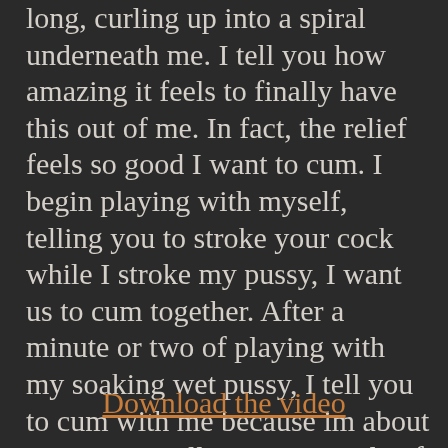long, curling up into a spiral underneath me. I tell you how amazing it feels to finally have this out of me. In fact, the relief feels so good I want to cum. I begin playing with myself, telling you to stroke your cock while I stroke my pussy, I want us to cum together. After a minute or two of playing with my soaking wet pussy, I tell you to cum with me because im about to orgasm, still sitting in a pile of my own shit. It feels so good!Length of video not including titles/credits: 05:21Format: 1080p mp4 (the video is much better quality than the GIF)
Download the video